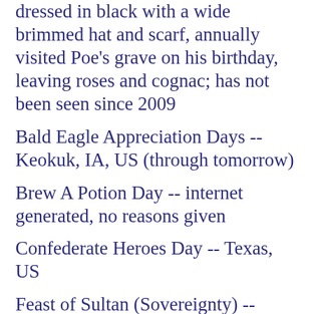dressed in black with a wide brimmed hat and scarf, annually visited Poe's grave on his birthday, leaving roses and cognac; has not been seen since 2009
Bald Eagle Appreciation Days -- Keokuk, IA, US (through tomorrow)
Brew A Potion Day -- internet generated, no reasons given
Confederate Heroes Day -- Texas, US
Feast of Sultan (Sovereignty) -- Baha'i
Gasparilla Extravaganza -- Tampa, FL, US (the rum free version of the Pirate Festival celebration, with a kid's parade and lots of fun;